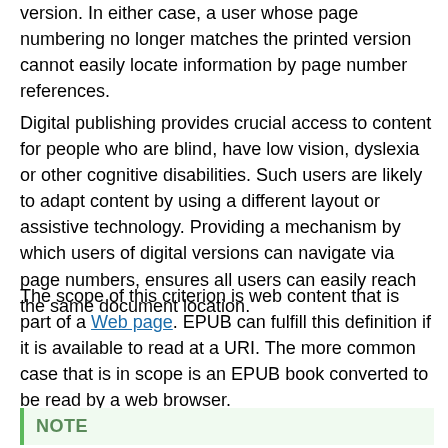version. In either case, a user whose page numbering no longer matches the printed version cannot easily locate information by page number references.
Digital publishing provides crucial access to content for people who are blind, have low vision, dyslexia or other cognitive disabilities. Such users are likely to adapt content by using a different layout or assistive technology. Providing a mechanism by which users of digital versions can navigate via page numbers, ensures all users can easily reach the same document location.
The scope of this criterion is web content that is part of a Web page. EPUB can fulfill this definition if it is available to read at a URI. The more common case that is in scope is an EPUB book converted to be read by a web browser.
NOTE